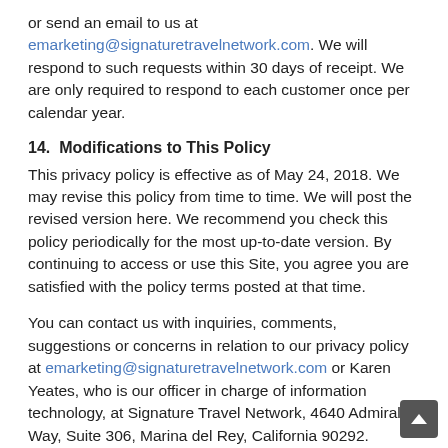or send an email to us at emarketing@signaturetravelnetwork.com. We will respond to such requests within 30 days of receipt. We are only required to respond to each customer once per calendar year.
14.  Modifications to This Policy
This privacy policy is effective as of May 24, 2018. We may revise this policy from time to time. We will post the revised version here. We recommend you check this policy periodically for the most up-to-date version. By continuing to access or use this Site, you agree you are satisfied with the policy terms posted at that time.
You can contact us with inquiries, comments, suggestions or concerns in relation to our privacy policy at emarketing@signaturetravelnetwork.com or Karen Yeates, who is our officer in charge of information technology, at Signature Travel Network, 4640 Admiralty Way, Suite 306, Marina del Rey, California 90292.